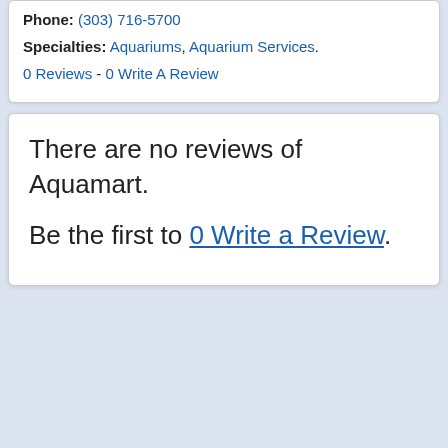Phone: (303) 716-5700
Specialties: Aquariums, Aquarium Services.
0 Reviews - 0 Write A Review
There are no reviews of Aquamart.
Be the first to 0 Write a Review.